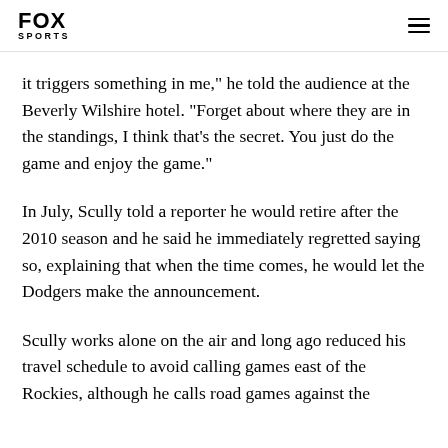FOX SPORTS
it triggers something in me," he told the audience at the Beverly Wilshire hotel. "Forget about where they are in the standings, I think that's the secret. You just do the game and enjoy the game."
In July, Scully told a reporter he would retire after the 2010 season and he said he immediately regretted saying so, explaining that when the time comes, he would let the Dodgers make the announcement.
Scully works alone on the air and long ago reduced his travel schedule to avoid calling games east of the Rockies, although he calls road games against the